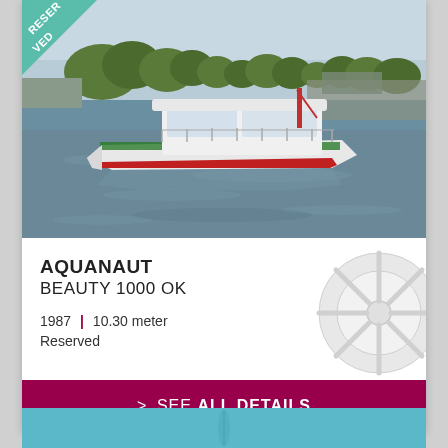[Figure (photo): A white motorboat with green and red stripe cruising on a river/canal with trees and industrial buildings in background. A teal 'RESERVED' banner in upper left corner.]
AQUANAUT
BEAUTY 1000 OK
1987 | 10.30 meter
Reserved
> SEE ALL DETAILS